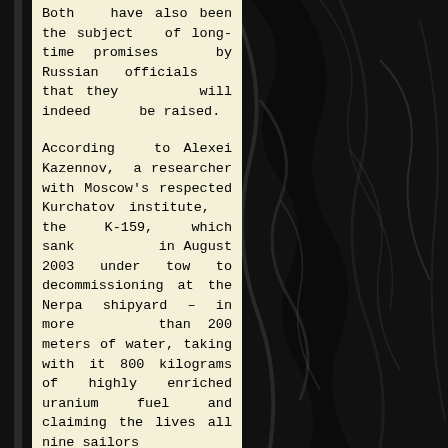[Figure (photo): Dark black fabric or textile with deep folds and wrinkles, filling the right portion of the page background]
Both have also been the subject of long-time promises by Russian officials that they will indeed be raised.
According to Alexei Kazennov, a researcher with Moscow's respected Kurchatov institute, the K-159, which sank in August 2003 under tow to decommissioning at the Nerpa shipyard – in more than 200 meters of water, taking with it 800 kilograms of highly enriched uranium fuel and claiming the lives all nine sailors